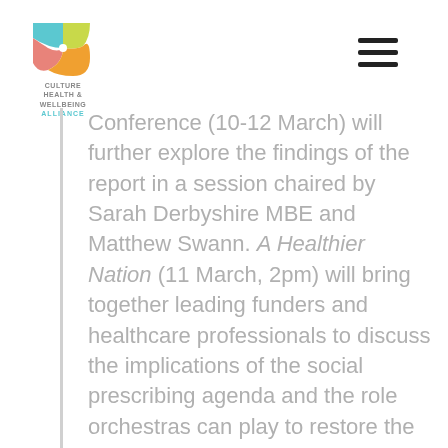Culture Health & Wellbeing Alliance logo and navigation menu
Conference (10-12 March) will further explore the findings of the report in a session chaired by Sarah Derbyshire MBE and Matthew Swann. A Healthier Nation (11 March, 2pm) will bring together leading funders and healthcare professionals to discuss the implications of the social prescribing agenda and the role orchestras can play to restore the health and wellbeing of the nation. For further information: